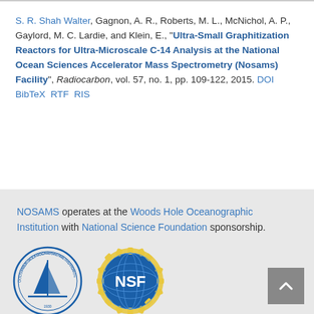S. R. Shah Walter, Gagnon, A. R., Roberts, M. L., McNichol, A. P., Gaylord, M. C. Lardie, and Klein, E., "Ultra-Small Graphitization Reactors for Ultra-Microscale C-14 Analysis at the National Ocean Sciences Accelerator Mass Spectrometry (Nosams) Facility", Radiocarbon, vol. 57, no. 1, pp. 109-122, 2015. DOI  BibTeX  RTF  RIS
NOSAMS operates at the Woods Hole Oceanographic Institution with National Science Foundation sponsorship.
[Figure (logo): Woods Hole Oceanographic Institution logo (circular, blue sailboat with text around ring) and NSF National Science Foundation logo (circular, blue globe with gold gear ring)]